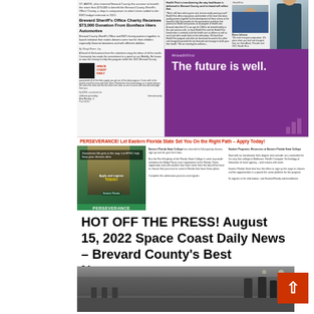[Figure (photo): Newspaper front page image showing 'Space Coast Daily News' with stories about Brevard Sheriff's Office charity receiving $73,000 donation from Boniface Hiers Automotive, a Health First advertisement with purple background and text 'The future is well.', and an Eastern Florida State College perseverance advertisement.]
HOT OFF THE PRESS! August 15, 2022 Space Coast Daily News – Brevard County's Best Newspaper
[Figure (photo): Black and white historical photograph of what appears to be a bar or diner interior with people standing at the counter.]